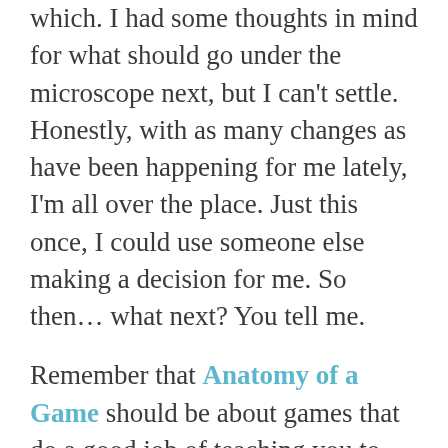which. I had some thoughts in mind for what should go under the microscope next, but I can't settle. Honestly, with as many changes as have been happening for me lately, I'm all over the place. Just this once, I could use someone else making a decision for me. So then... what next? You tell me.
Remember that Anatomy of a Game should be about games that do a good job of teaching you to play as they go along without resorting to lengthy dialog or tutorials; I'm ultimately interested in seeing ways in which good developers communicate mechanics